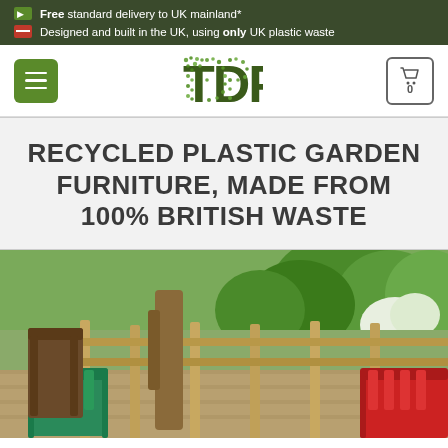Free standard delivery to UK mainland*
Designed and built in the UK, using only UK plastic waste
[Figure (logo): TDP logo with green leaf-textured letters on white navigation bar]
RECYCLED PLASTIC GARDEN FURNITURE, MADE FROM 100% BRITISH WASTE
[Figure (photo): Garden decking scene with green and red recycled plastic chairs alongside wooden railings, with lush green garden in background]